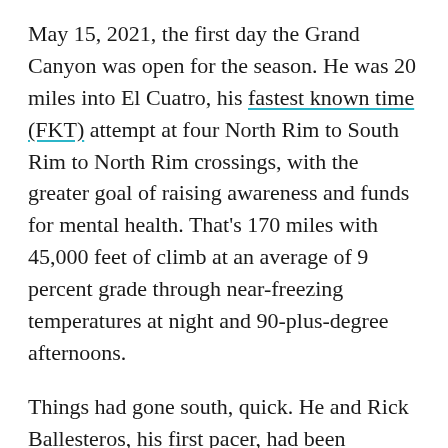May 15, 2021, the first day the Grand Canyon was open for the season. He was 20 miles into El Cuatro, his fastest known time (FKT) attempt at four North Rim to South Rim to North Rim crossings, with the greater goal of raising awareness and funds for mental health. That's 170 miles with 45,000 feet of climb at an average of 9 percent grade through near-freezing temperatures at night and 90-plus-degree afternoons.
Things had gone south, quick. He and Rick Ballesteros, his first pacer, had been cruising when they hit Phantom Ranch, a campsite near the base of the canyon. There, Christian told Rick to refill the bottles and restock the calories.